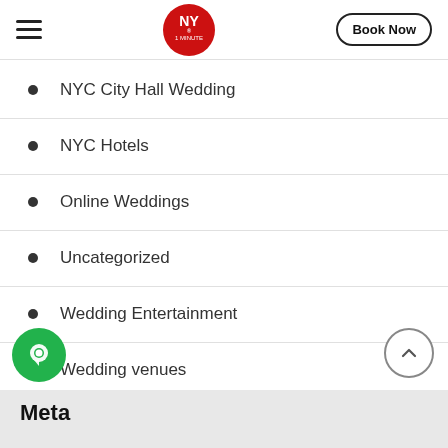NY 1 MINUTE — Book Now
NYC City Hall Wedding
NYC Hotels
Online Weddings
Uncategorized
Wedding Entertainment
Wedding venues
Meta